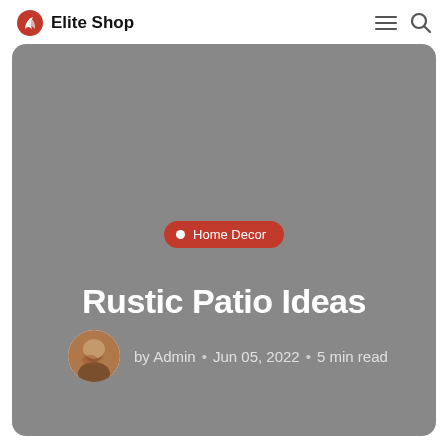Elite Shop
[Figure (screenshot): Hero image area with gray background showing a blog post header for 'Rustic Patio Ideas' with Home Decor badge and author info]
Rustic Patio Ideas
by Admin • Jun 05, 2022 • 5 min read